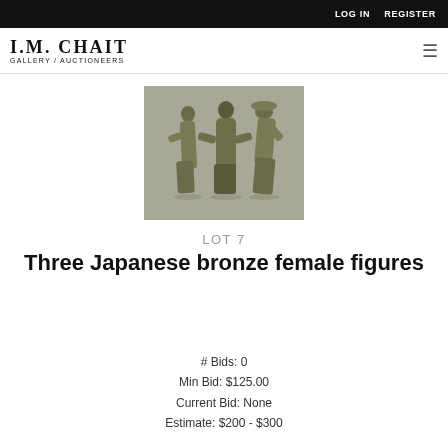LOG IN   REGISTER
I.M. CHAIT GALLERY / AUCTIONEERS
[Figure (photo): Three Japanese bronze female figures standing side by side against a gray background]
LOT 7
Three Japanese bronze female figures
# Bids: 0
Min Bid: $125.00
Current Bid: None
Estimate: $200 - $300